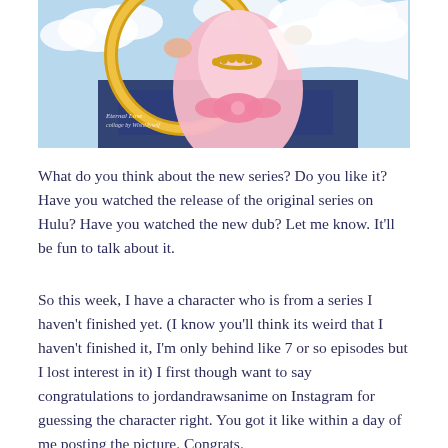[Figure (illustration): Anime-style illustration showing a character in pink dress with gold necklace, holding a golden ring/hoop, with blue sky and clouds in background. Watermark text reads 'Eternal Love collage by WishMyself']
What do you think about the new series? Do you like it? Have you watched the release of the original series on Hulu? Have you watched the new dub? Let me know. It'll be fun to talk about it.
So this week, I have a character who is from a series I haven't finished yet. (I know you'll think its weird that I haven't finished it, I'm only behind like 7 or so episodes but I lost interest in it) I first though want to say congratulations to jordandrawsanime on Instagram for guessing the character right. You got it like within a day of me posting the picture. Congrats.